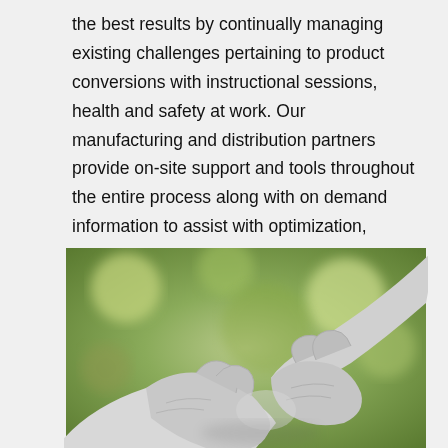the best results by continually managing existing challenges pertaining to product conversions with instructional sessions, health and safety at work. Our manufacturing and distribution partners provide on-site support and tools throughout the entire process along with on demand information to assist with optimization, effective and efficient use of resources during any procedure.
[Figure (photo): Two hands wearing white latex/nitrile medical gloves shaking hands, with a blurred green outdoor background.]